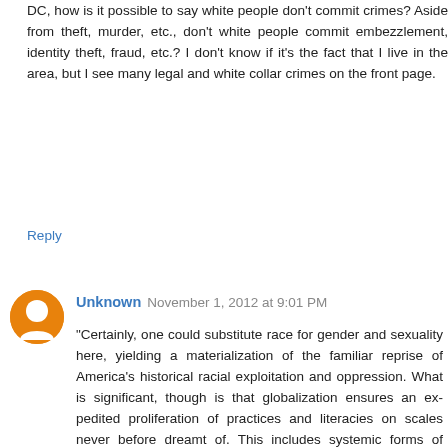DC, how is it possible to say white people don't commit crimes? Aside from theft, murder, etc., don't white people commit embezzlement, identity theft, fraud, etc.? I don't know if it's the fact that I live in the area, but I see many legal and white collar crimes on the front page.
Reply
Unknown  November 1, 2012 at 9:01 PM
"Certainly, one could substitute race for gender and sexuality here, yielding a materialization of the familiar reprise of America's historical racial exploitation and oppression. What is significant, though is that globalization ensures an ex- pedited proliferation of practices and literacies on scales never before dreamt of. This includes systemic forms of oppression, namely racism and sexism, proving Hardt and Negri's (2004) point that, in globalized spaces, fair and socially just representation is truly at stake" (Taylor and Helfenbein 325-326).
There have been major social conflicts surrounding oppression of genders and race and while there have been